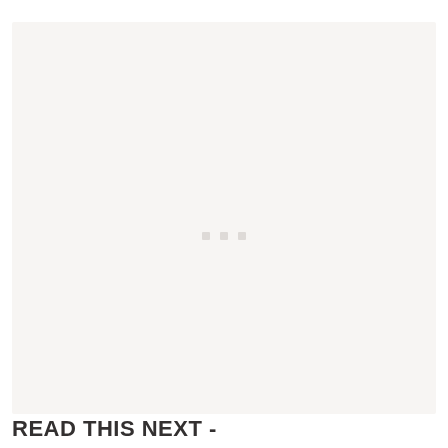[Figure (other): Large light beige/off-white rectangular content placeholder box with three small light square dots centered near the middle, suggesting a loading or empty state UI element.]
READ THIS NEXT -